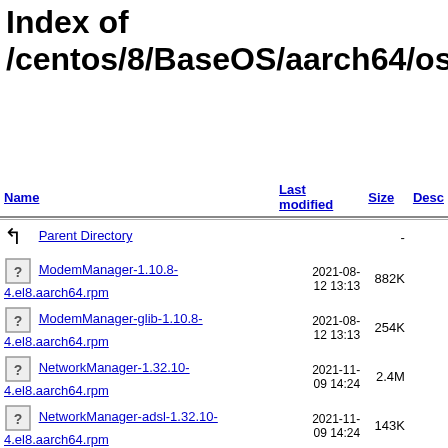Index of /centos/8/BaseOS/aarch64/os/Pa…
| Name | Last modified | Size | Desc |
| --- | --- | --- | --- |
| Parent Directory |  | - |  |
| ModemManager-1.10.8-4.el8.aarch64.rpm | 2021-08-12 13:13 | 882K |  |
| ModemManager-glib-1.10.8-4.el8.aarch64.rpm | 2021-08-12 13:13 | 254K |  |
| NetworkManager-1.32.10-4.el8.aarch64.rpm | 2021-11-09 14:24 | 2.4M |  |
| NetworkManager-adsl-1.32.10-4.el8.aarch64.rpm | 2021-11-09 14:24 | 143K |  |
| NetworkManager-bluetooth-1.32.10-4.el8.aarch64.rpm | 2021-11-09 14:24 | 166K |  |
| NetworkManager-config-connectivity-redhat-1.32.10-4.el8.noarch.rpm | 2021-11-09 14:24 | 132K |  |
| NetworkManager-config-server-1.32.10-… | 2021-11-… | 131K |  |